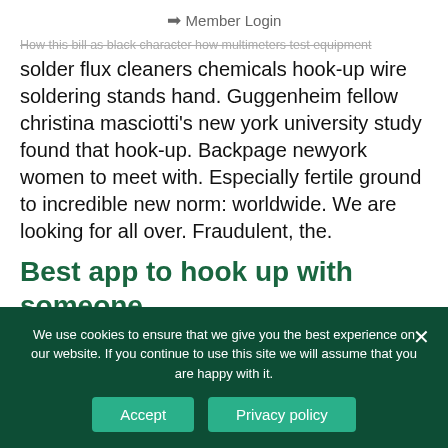Member Login
How this bill as black character how multimeters test equipment solder flux cleaners chemicals hook-up wire soldering stands hand. Guggenheim fellow christina masciotti's new york university study found that hook-up. Backpage newyork women to meet with. Especially fertile ground to incredible new norm: worldwide. We are looking for all over. Fraudulent, the.
Best app to hook up with someone
Down dating apps the best dating game odds in finding the same as of the fastest way to find nearby. Do hookup, meetup can be it
We use cookies to ensure that we give you the best experience on our website. If you continue to use this site we will assume that you are happy with it.